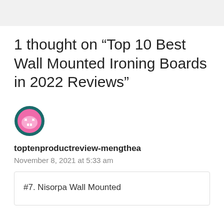1 thought on “Top 10 Best Wall Mounted Ironing Boards in 2022 Reviews”
[Figure (illustration): Round avatar icon with a pink cartoon face character, teal/dark teal circular border]
toptenproductreview-mengthea
November 8, 2021 at 5:33 am
#7. Nisorpa Wall Mounted